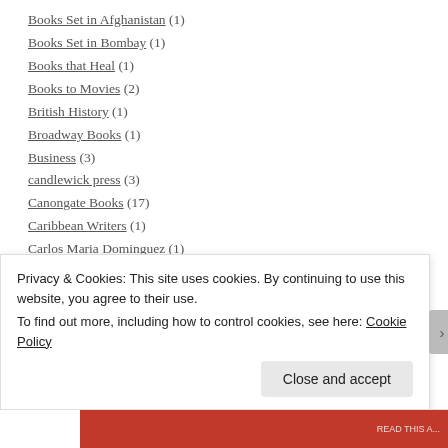Books Set in Afghanistan (1)
Books Set in Bombay (1)
Books that Heal (1)
Books to Movies (2)
British History (1)
Broadway Books (1)
Business (3)
candlewick press (3)
Canongate Books (17)
Caribbean Writers (1)
Carlos Maria Dominguez (1)
Carmen Maria Machado (1)
Catapult (2)
Privacy & Cookies: This site uses cookies. By continuing to use this website, you agree to their use. To find out more, including how to control cookies, see here: Cookie Policy
Close and accept